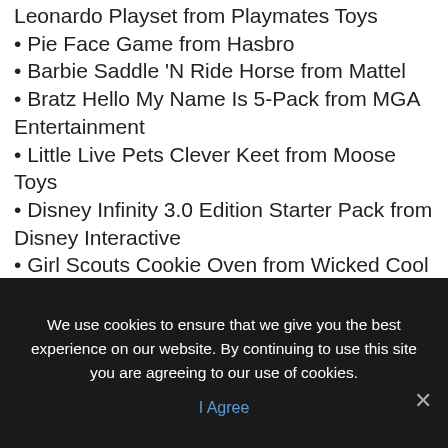Leonardo Playset from Playmates Toys
Pie Face Game from Hasbro
Barbie Saddle 'N Ride Horse from Mattel
Bratz Hello My Name Is 5-Pack from MGA Entertainment
Little Live Pets Clever Keet from Moose Toys
Disney Infinity 3.0 Edition Starter Pack from Disney Interactive
Girl Scouts Cookie Oven from Wicked Cool Toys
Journey Girls 2015 Italy Holiday Doll from Toys "R" Us
LEGO Dimensions Starter Pack from Warner Bros.
Marvel Avengers XRV Remote Control Hulk
We use cookies to ensure that we give you the best experience on our website. By continuing to use this site you are agreeing to our use of cookies.
I Agree